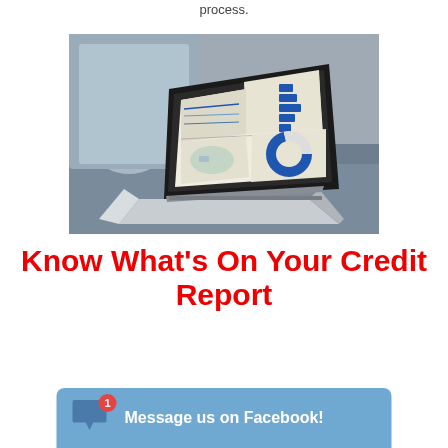process.
[Figure (photo): A laptop computer open on a dark couch displaying a data analytics dashboard with bar charts, a world map, and a donut chart on the screen.]
Know What's On Your Credit Report
Message us on Facebook!